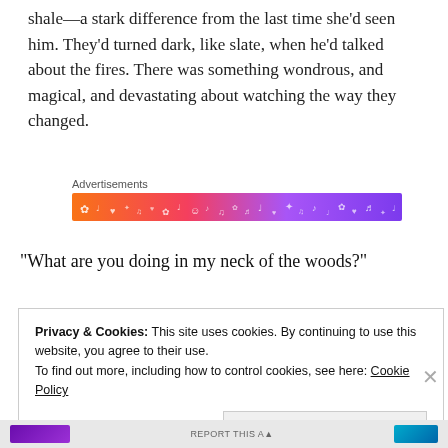shale—a stark difference from the last time she'd seen him. They'd turned dark, like slate, when he'd talked about the fires. There was something wondrous, and magical, and devastating about watching the way they changed.
[Figure (other): Advertisement banner with colorful gradient from orange to purple, decorated with small white musical notes, hearts, flowers, and emoji-like symbols. Labeled 'Advertisements' above.]
“What are you doing in my neck of the woods?”
Privacy & Cookies: This site uses cookies. By continuing to use this website, you agree to their use.
To find out more, including how to control cookies, see here: Cookie Policy